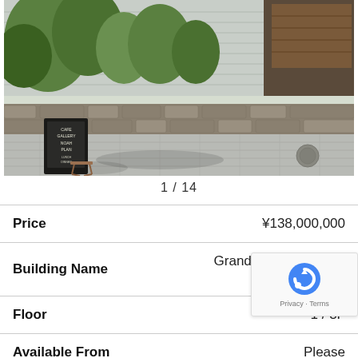[Figure (photo): Exterior view of a building with stone wall retaining garden, trees, paved driveway, and a blackboard sign reading CAFE GALLERY in foreground]
1 / 14
| Field | Value |
| --- | --- |
| Price | ¥138,000,000 |
| Building Name | Grande Maison Kyoto Okazaki |
| Floor | 1 / 3F |
| Available From | Please |
| Type | Mansion |